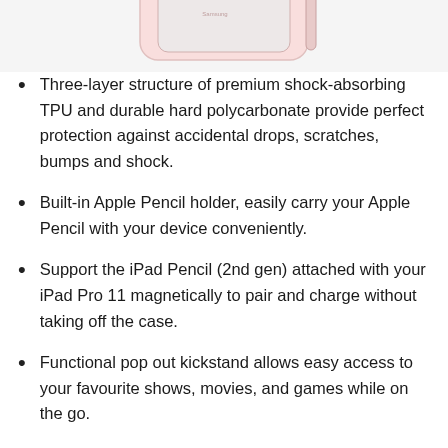[Figure (photo): Partial product image of a tablet case, light pink/white color, cropped at top]
Three-layer structure of premium shock-absorbing TPU and durable hard polycarbonate provide perfect protection against accidental drops, scratches, bumps and shock.
Built-in Apple Pencil holder, easily carry your Apple Pencil with your device conveniently.
Support the iPad Pencil (2nd gen) attached with your iPad Pro 11 magnetically to pair and charge without taking off the case.
Functional pop out kickstand allows easy access to your favourite shows, movies, and games while on the go.
Support and Easy To S... (partial, cut off)